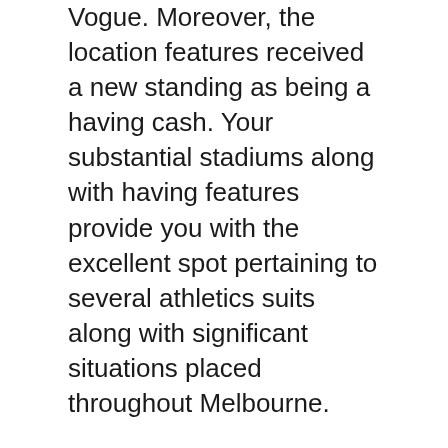Vogue. Moreover, the location features received a new standing as being a having cash. Your substantial stadiums along with having features provide you with the excellent spot pertaining to several athletics suits along with significant situations placed throughout Melbourne.
betting
Leave a comment
The reason A digital Foreign exchange Outweighs Fiat